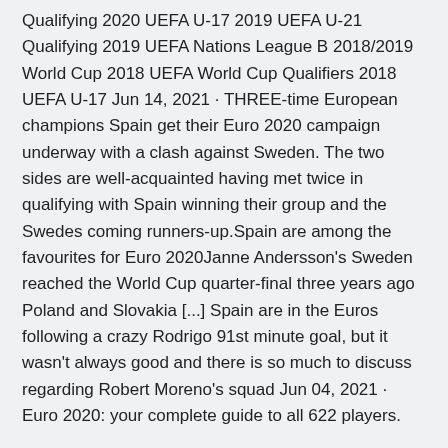Qualifying 2020 UEFA U-17 2019 UEFA U-21 Qualifying 2019 UEFA Nations League B 2018/2019 World Cup 2018 UEFA World Cup Qualifiers 2018 UEFA U-17 Jun 14, 2021 · THREE-time European champions Spain get their Euro 2020 campaign underway with a clash against Sweden. The two sides are well-acquainted having met twice in qualifying with Spain winning their group and the Swedes coming runners-up.Spain are among the favourites for Euro 2020Janne Andersson's Sweden reached the World Cup quarter-final three years ago Poland and Slovakia [...] Spain are in the Euros following a crazy Rodrigo 91st minute goal, but it wasn't always good and there is so much to discuss regarding Robert Moreno's squad Jun 04, 2021 · Euro 2020: your complete guide to all 622 players.
The two sides are well-acquainted having met twice in